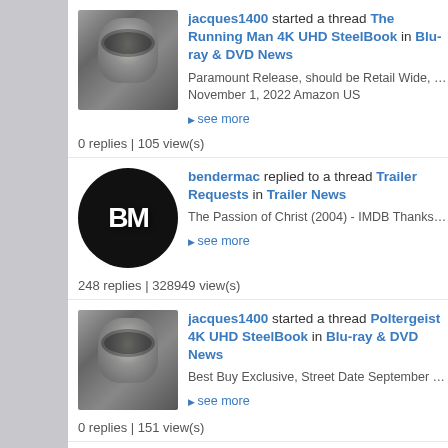jacques1400 started a thread The Running Man 4K UHD SteelBook in Blu-ray & DVD News. Paramount Release, should be Retail Wide, US Listing for November 1, 2022 Amazon US. 0 replies | 105 view(s)
bendermac replied to a thread Trailer Requests in Trailer News. The Passion of Christ (2004) - IMDB Thanks in advance :). 248 replies | 328949 view(s)
jacques1400 started a thread Poltergeist 4K UHD SteelBook in Blu-ray & DVD News. Best Buy Exclusive, Street Date September 20, 2022 Best Bu... 0 replies | 151 view(s)
jacques1400 started a thread The Lost Boys 4K ...